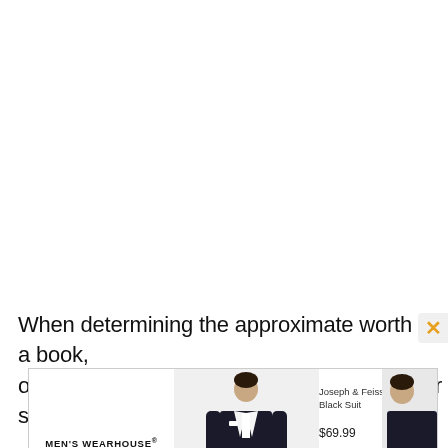When determining the approximate worth of a book, one extremely simple technique is to look for similar
[Figure (screenshot): Men's Wearhouse advertisement showing a man in a black suit, with the product name 'Joseph & Feiss Boy's Black Suit' and price '$69.99', along with a close button (X) and play icon at the bottom left.]